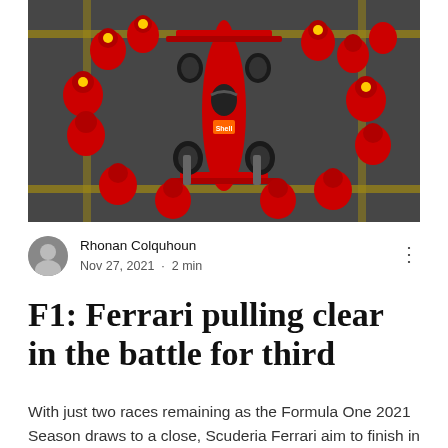[Figure (photo): Aerial top-down view of a Ferrari Formula 1 car in red during a pit stop, surrounded by pit crew members all dressed in red Ferrari uniforms with Shell logos, on a dark pit lane surface with yellow markings.]
Rhonan Colquhoun
Nov 27, 2021 · 2 min
F1: Ferrari pulling clear in the battle for third
With just two races remaining as the Formula One 2021 Season draws to a close, Scuderia Ferrari aim to finish in